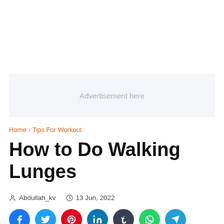[Figure (other): Advertisement placeholder box with light grey background and text 'Advertisement here']
Home > Tips For Workout
How to Do Walking Lunges
Abdullah_kv   13 Jun, 2022
[Figure (other): Social media share buttons row: Facebook, Twitter, Pinterest, LinkedIn, Tumblr, WhatsApp, Telegram]